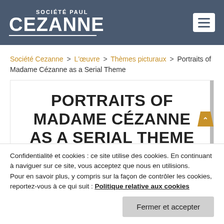SOCIÉTÉ PAUL CEZANNE
Société Cezanne > L'œuvre > Thèmes picturaux > Portraits of Madame Cézanne as a Serial Theme
PORTRAITS OF MADAME CÉZANNE AS A SERIAL THEME
Confidentialité et cookies : ce site utilise des cookies. En continuant à naviguer sur ce site, vous acceptez que nous en utilisions. Pour en savoir plus, y compris sur la façon de contrôler les cookies, reportez-vous à ce qui suit : Politique relative aux cookies
Fermer et accepter